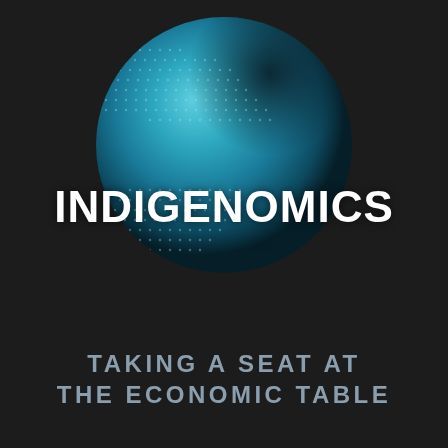[Figure (illustration): A large teal/cyan globe rendered with a fine dot/halftone pattern, partially lit on the upper portion with lighter blues and a dark shadow on the upper right. The globe sits centered in the upper half of the page against a very dark background, with the word INDIGENOMICS overlaid across its center.]
INDIGENOMICS
TAKING A SEAT AT THE ECONOMIC TABLE